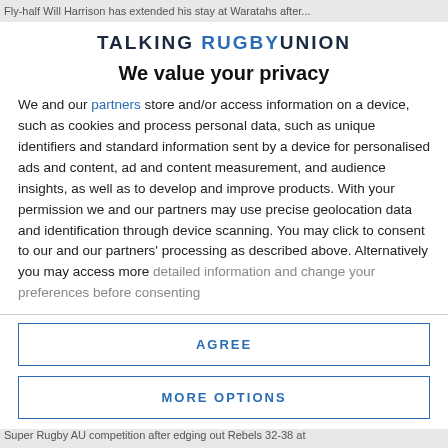Fly-half Will Harrison has extended his stay at Waratahs after...
[Figure (logo): Talking Rugby Union logo — text logo with TALKING in dark navy, RUGBY in blue, UNION in dark navy, uppercase bold sans-serif]
We value your privacy
We and our partners store and/or access information on a device, such as cookies and process personal data, such as unique identifiers and standard information sent by a device for personalised ads and content, ad and content measurement, and audience insights, as well as to develop and improve products. With your permission we and our partners may use precise geolocation data and identification through device scanning. You may click to consent to our and our partners' processing as described above. Alternatively you may access more detailed information and change your preferences before consenting
AGREE
MORE OPTIONS
Super Rugby AU competition after edging out Rebels 32-38 at